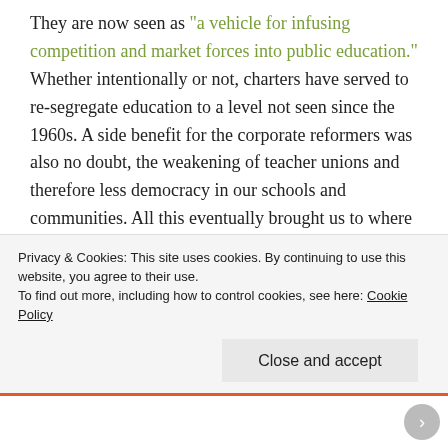They are now seen as "a vehicle for infusing competition and market forces into public education." Whether intentionally or not, charters have served to re-segregate education to a level not seen since the 1960s. A side benefit for the corporate reformers was also no doubt, the weakening of teacher unions and therefore less democracy in our schools and communities. All this eventually brought us to where we are today. Instead of charter schools augmenting and serving as "laboratory partners to public schools", they are now in direct competition for
Privacy & Cookies: This site uses cookies. By continuing to use this website, you agree to their use.
To find out more, including how to control cookies, see here: Cookie Policy